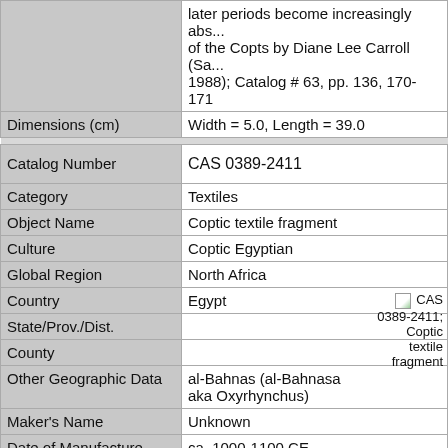| Field | Value |
| --- | --- |
|  | later periods become increasingly abs... of the Copts by Diane Lee Carroll (Sa... 1988); Catalog # 63, pp. 136, 170-171 |
| Dimensions (cm) | Width = 5.0, Length = 39.0 |
| Catalog Number | CAS 0389-2411 |
| Category | Textiles |
| Object Name | Coptic textile fragment |
| Culture | Coptic Egyptian |
| Global Region | North Africa |
| Country | Egypt |
| State/Prov./Dist. |  |
| County |  |
| Other Geographic Data | al-Bahnas (al-Bahnasa aka Oxyrhynchus) |
| Maker's Name | Unknown |
| Date of Manufacture | ca. 1000-1100 CE, probably |
| Collection Name | Rietz Collection of Textiles |
| Materials | Wool |
| Description | "Tapestry fragment from... |